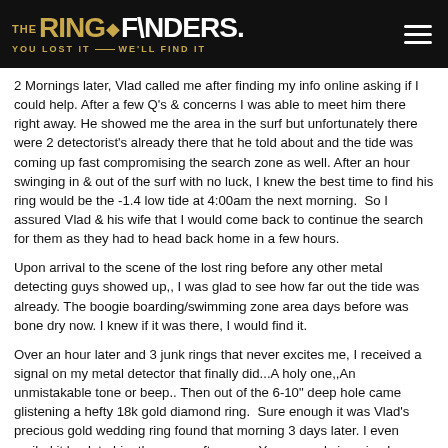[Figure (logo): The Ring Finders logo with diamond icon and tagline 'YOU LOST IT WE'LL FIND IT' on dark background, plus hamburger menu icon]
2 Mornings later, Vlad called me after finding my info online asking if I could help. After a few Q's & concerns I was able to meet him there right away. He showed me the area in the surf but unfortunately there were 2 detectorist's already there that he told about and the tide was coming up fast compromising the search zone as well. After an hour swinging in & out of the surf with no luck, I knew the best time to find his ring would be the -1.4 low tide at 4:00am the next morning.  So I assured Vlad & his wife that I would come back to continue the search for them as they had to head back home in a few hours.
Upon arrival to the scene of the lost ring before any other metal detecting guys showed up,, I was glad to see how far out the tide was already. The boogie boarding/swimming zone area days before was bone dry now. I knew if it was there, I would find it.
Over an hour later and 3 junk rings that never excites me, I received a signal on my metal detector that finally did...A holy one,,An unmistakable tone or beep.. Then out of the 6-10" deep hole came glistening a hefty 18k gold diamond ring.  Sure enough it was Vlad's precious gold wedding ring found that morning 3 days later. I even mailed it back to him the same afternoon. You can only imagine how relieved they were and that I could help